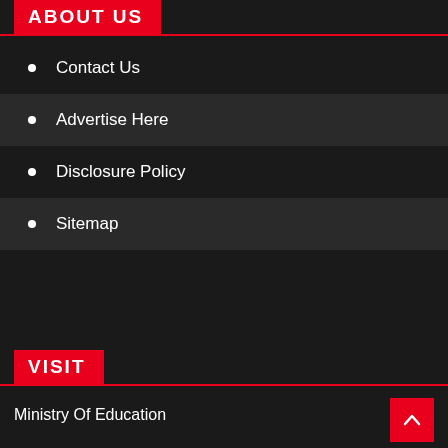ABOUT US
Contact Us
Advertise Here
Disclosure Policy
Sitemap
VISIT
Ministry Of Education